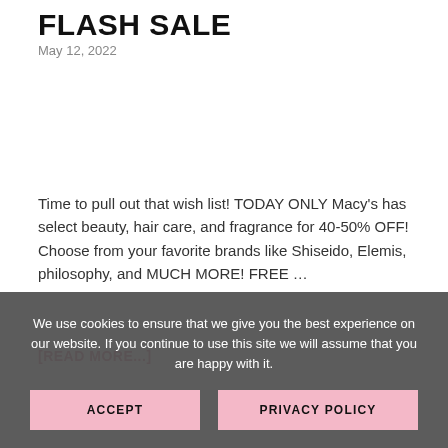FLASH SALE
May 12, 2022
Time to pull out that wish list! TODAY ONLY Macy's has select beauty, hair care, and fragrance for 40-50% OFF! Choose from your favorite brands like Shiseido, Elemis, philosophy, and MUCH MORE! FREE …
[READ MORE...]
We use cookies to ensure that we give you the best experience on our website. If you continue to use this site we will assume that you are happy with it.
ACCEPT
PRIVACY POLICY